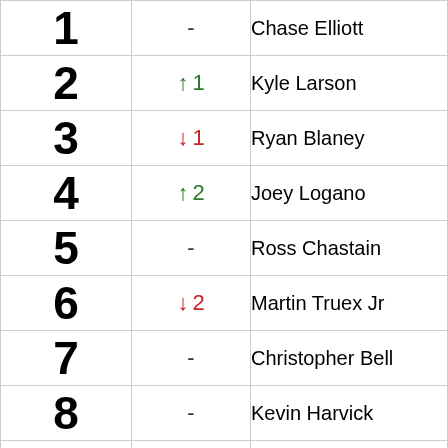| Rank | Change | Name |
| --- | --- | --- |
| 1 | - | Chase Elliott |
| 2 | ↑ 1 | Kyle Larson |
| 3 | ↓ 1 | Ryan Blaney |
| 4 | ↑ 2 | Joey Logano |
| 5 | - | Ross Chastain |
| 6 | ↓ 2 | Martin Truex Jr |
| 7 | - | Christopher Bell |
| 8 | - | Kevin Harvick |
| 9 | ... | Kyle Busch |